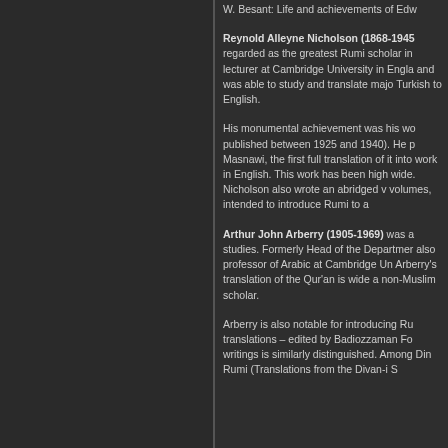W. Besant: Life and achievements of Edw
Reynold Alleyne Nicholson (1868-1945 regarded as the greatest Rumi scholar in lecturer at Cambridge University in Engla and was able to study and translate majo Turkish to English.
His monumental achievement was his wo published between 1925 and 1940). He p Masnawi, the first full translation of it into work in English. This work has been high wide. Nicholson also wrote an abridged v volumes, intended to introduce Rumi to a
Arthur John Arberry (1905-1969) was a studies. Formerly Head of the Departmer also professor of Arabic at Cambridge Un Arberry's translation of the Qur'an is wide a non-Muslim scholar.
Arberry is also notable for introducing Ru translations – edited by Badiozzaman Fo writings is similarly distinguished. Among Din Rumi (Translations from the Divan-i S